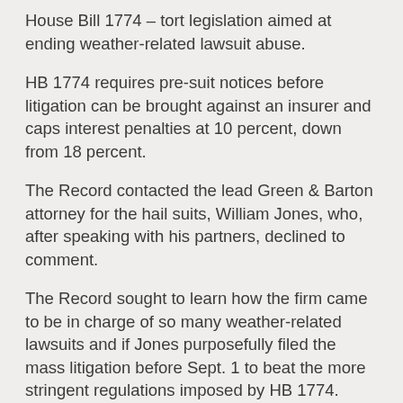House Bill 1774 – tort legislation aimed at ending weather-related lawsuit abuse.
HB 1774 requires pre-suit notices before litigation can be brought against an insurer and caps interest penalties at 10 percent, down from 18 percent.
The Record contacted the lead Green & Barton attorney for the hail suits, William Jones, who, after speaking with his partners, declined to comment.
The Record sought to learn how the firm came to be in charge of so many weather-related lawsuits and if Jones purposefully filed the mass litigation before Sept. 1 to beat the more stringent regulations imposed by HB 1774.
In all 182 lawsuits brought by the firm, an insurance company is named as the primary defendant, court records show.